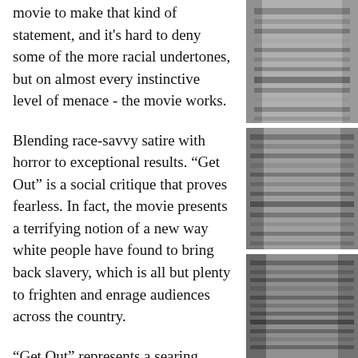movie to make that kind of statement, and it's hard to deny some of the more racial undertones, but on almost every instinctive level of menace - the movie works.
Blending race-savvy satire with horror to exceptional results. “Get Out” is a social critique that proves fearless. In fact, the movie presents a terrifying notion of a new way white people have found to bring back slavery, which is all but plenty to frighten and enrage audiences across the country.
“Get Out” represents a searing political statement wrapped in the confines of a sub-genre that mine as well be called
[Figure (photo): Black and white photograph of film reels or camera equipment, stacked vertically in three panels along the right side of the page.]